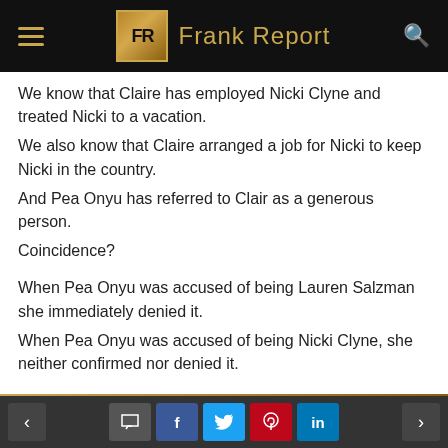Frank Report
We know that Claire has employed Nicki Clyne and treated Nicki to a vacation.
We also know that Claire arranged a job for Nicki to keep Nicki in the country.
And Pea Onyu has referred to Clair as a generous person.
Coincidence?

When Pea Onyu was accused of being Lauren Salzman she immediately denied it.
When Pea Onyu was accused of being Nicki Clyne, she neither confirmed nor denied it.

The circumstantial evidence points to Pea Onyu being Nicki Clyne.
REPLY
< [comment] [f] [twitter] [pinterest] [in] >